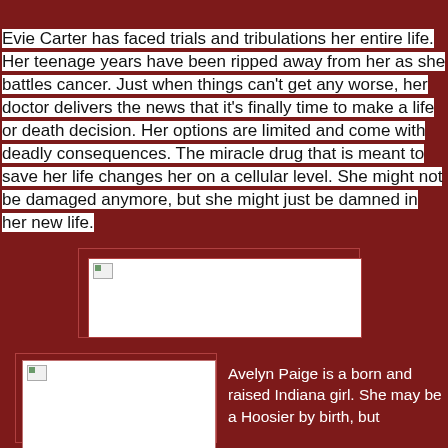Evie Carter has faced trials and tribulations her entire life. Her teenage years have been ripped away from her as she battles cancer. Just when things can't get any worse, her doctor delivers the news that it's finally time to make a life or death decision. Her options are limited and come with deadly consequences. The miracle drug that is meant to save her life changes her on a cellular level. She might not be damaged anymore, but she might just be damned in her new life.
[Figure (photo): Broken/missing image placeholder (white rectangle with broken image icon) centered on dark red background]
[Figure (photo): Broken/missing image placeholder (white rectangle with broken image icon) at bottom left]
Avelyn Paige is a born and raised Indiana girl. She may be a Hoosier by birth, but